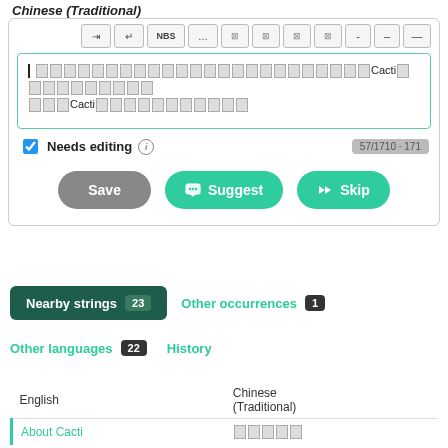Chinese (Traditional)
[Figure (screenshot): Toolbar with special character insertion buttons: tab, enter, NBS, ..., and various special character buttons, dash, en-dash, em-dash]
[Chinese Traditional text containing Cacti references]
Needs editing (i) 57/1710 · 171
Save | Suggest | Skip
Nearby strings 23
Other occurrences 1
Other languages 22
History
| English | Chinese (Traditional) |
| --- | --- |
| About Cacti | 關於Cacti（仙人掌網路圖形監控） |